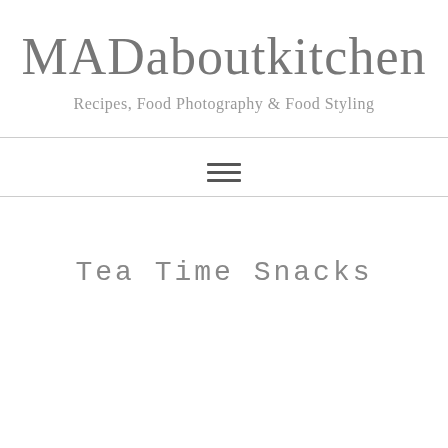MADaboutkitchen
Recipes, Food Photography & Food Styling
Tea Time Snacks